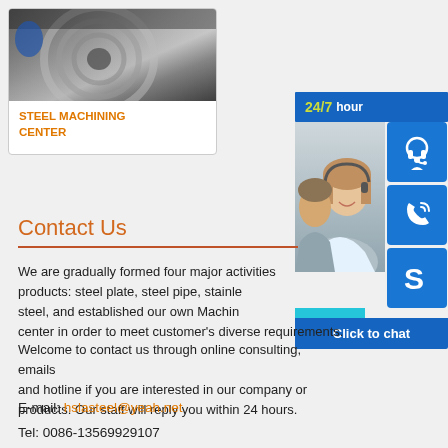[Figure (photo): Steel machining center product image showing metal/steel surface]
STEEL MACHINING CENTER
[Figure (infographic): 24/7 hour customer service panel with headset icon, phone icon, Skype icon, customer service photo, and Click to chat bar]
Contact Us
We are gradually formed four major activities: products: steel plate, steel pipe, stainless steel, and established our own Machining center in order to meet customer's diverse requirements.
Welcome to contact us through online consulting, emails and hotline if you are interested in our company or products. Our staff will reply you within 24 hours.
E-mail: hslasteel@yeah.net
Tel: 0086-13569929107